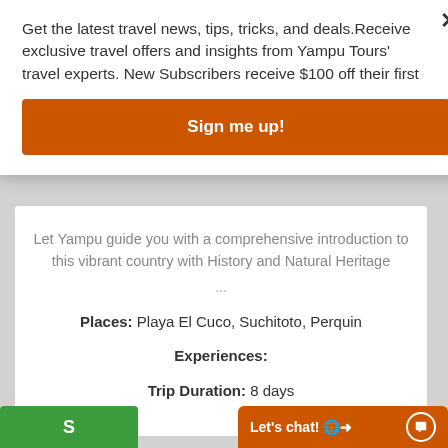Get the latest travel news, tips, tricks, and deals.Receive exclusive travel offers and insights from Yampu Tours' travel experts. New Subscribers receive $100 off their first
Sign me up!
Let Yampu guide you with a comprehensive introduction to this vibrant country with History and Natural Heritage ...
Places: Playa El Cuco, Suchitoto, Perquin
Experiences:
Trip Duration: 8 days
Let's chat!